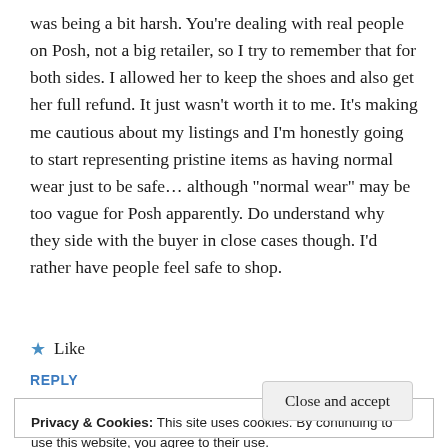was being a bit harsh. You're dealing with real people on Posh, not a big retailer, so I try to remember that for both sides. I allowed her to keep the shoes and also get her full refund. It just wasn't worth it to me. It's making me cautious about my listings and I'm honestly going to start representing pristine items as having normal wear just to be safe... although "normal wear" may be too vague for Posh apparently. Do understand why they side with the buyer in close cases though. I'd rather have people feel safe to shop.
★ Like
REPLY
Privacy & Cookies: This site uses cookies. By continuing to use this website, you agree to their use.
To find out more, including how to control cookies, see here:
Cookie Policy
Close and accept